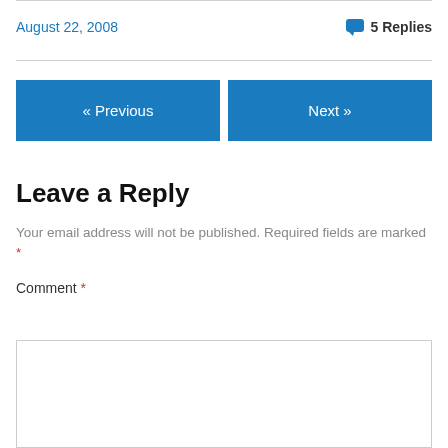August 22, 2008
💬 5 Replies
« Previous
Next »
Leave a Reply
Your email address will not be published. Required fields are marked *
Comment *